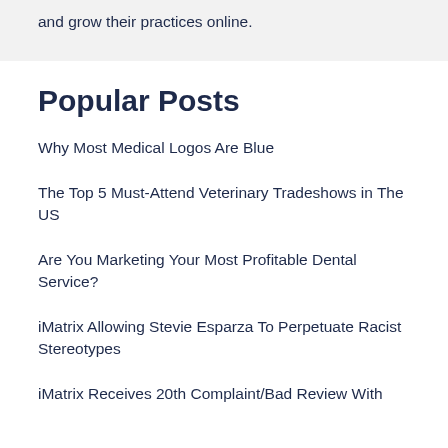and grow their practices online.
Popular Posts
Why Most Medical Logos Are Blue
The Top 5 Must-Attend Veterinary Tradeshows in The US
Are You Marketing Your Most Profitable Dental Service?
iMatrix Allowing Stevie Esparza To Perpetuate Racist Stereotypes
iMatrix Receives 20th Complaint/Bad Review With